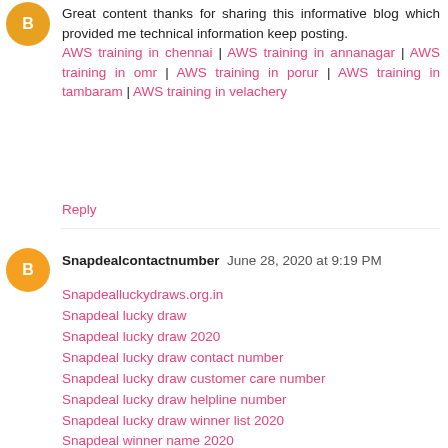[Figure (illustration): Orange circular avatar with letter B, anonymous user icon]
Great content thanks for sharing this informative blog which provided me technical information keep posting. AWS training in chennai | AWS training in annanagar | AWS training in omr | AWS training in porur | AWS training in tambaram | AWS training in velachery
Reply
[Figure (illustration): Orange circular avatar with letter B, Snapdealcontactnumber user icon]
Snapdealcontactnumber  June 28, 2020 at 9:19 PM
Snapdealluckydraws.org.in
Snapdeal lucky draw
Snapdeal lucky draw 2020
Snapdeal lucky draw contact number
Snapdeal lucky draw customer care number
Snapdeal lucky draw helpline number
Snapdeal lucky draw winner list 2020
Snapdeal winner name 2020
Snapdeal winner 2020
Snapdeal lucky draw winner 2020
Snapdeal lucky draw department